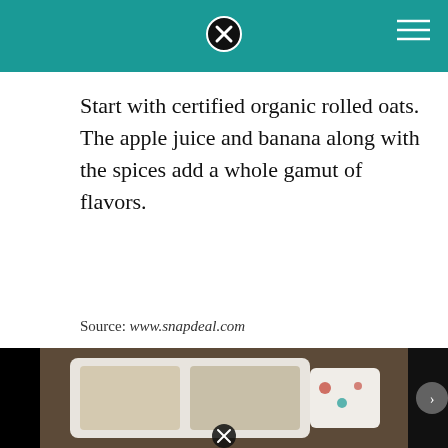Start with certified organic rolled oats. The apple juice and banana along with the spices add a whole gamut of flavors.
Source: www.snapdeal.com
1)take oats in a blender. Bring 1/2 cup of water to a boil and sprinkle in 2 tbsp of the ground oats and.
[Figure (photo): Photo showing oats in a bowl/tray on a wooden surface, partially visible]